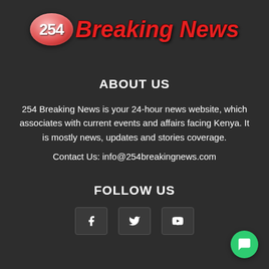[Figure (logo): 254 Breaking News logo: oval badge with '254' in white on red gradient, followed by 'Breaking News' in bold red italic text]
ABOUT US
254 Breaking News is your 24-hour news website, which associates with current events and affairs facing Kenya. It is mostly news, updates and stories coverage.
Contact Us: info@254breakingnews.com
FOLLOW US
[Figure (infographic): Three social media icon boxes: Facebook (f), Twitter (bird), YouTube (play button)]
[Figure (illustration): Green circular chat bubble button in bottom-right corner]